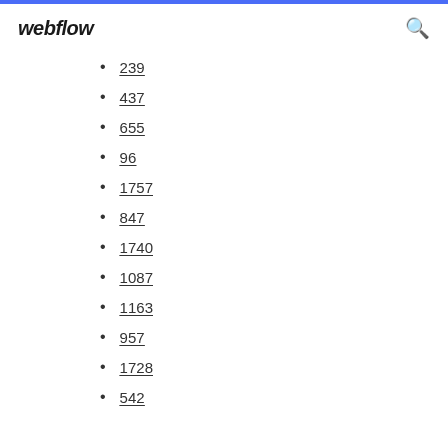webflow
239
437
655
96
1757
847
1740
1087
1163
957
1728
542